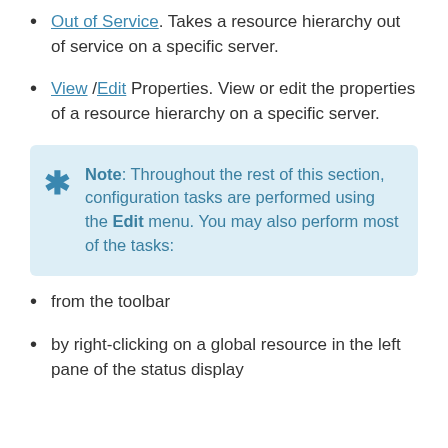Out of Service. Takes a resource hierarchy out of service on a specific server.
View /Edit Properties. View or edit the properties of a resource hierarchy on a specific server.
Note: Throughout the rest of this section, configuration tasks are performed using the Edit menu. You may also perform most of the tasks:
from the toolbar
by right-clicking on a global resource in the left pane of the status display